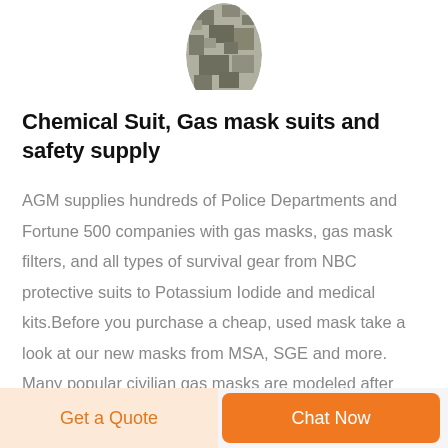[Figure (photo): Partial product image showing a camouflage-patterned gas mask or chemical suit component at the top of the page]
Chemical Suit, Gas mask suits and safety supply
AGM supplies hundreds of Police Departments and Fortune 500 companies with gas masks, gas mask filters, and all types of survival gear from NBC protective suits to Potassium Iodide and medical kits.Before you purchase a cheap, used mask take a look at our new masks from MSA, SGE and more. Many popular civilian gas masks are modeled after military units, like the MSA Advantage 1000
Get a Quote | Chat Now